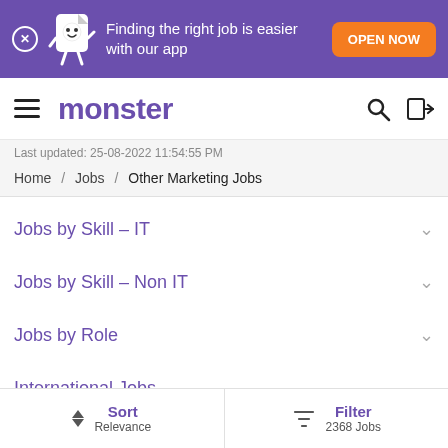[Figure (screenshot): Monster.com app promotion banner with purple background, mascot, and orange OPEN NOW button]
monster
Last updated: 25-08-2022 11:54:55 PM
Home / Jobs / Other Marketing Jobs
Jobs by Skill – IT
Jobs by Skill – Non IT
Jobs by Role
International Jobs
Sort  Relevance  Filter  2368 Jobs